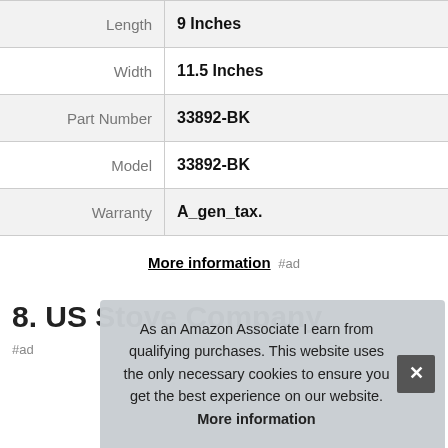| Attribute | Value |
| --- | --- |
| Length | 9 Inches |
| Width | 11.5 Inches |
| Part Number | 33892-BK |
| Model | 33892-BK |
| Warranty | A_gen_tax. |
More information #ad
8. US Stove Company
#ad
As an Amazon Associate I earn from qualifying purchases. This website uses the only necessary cookies to ensure you get the best experience on our website. More information